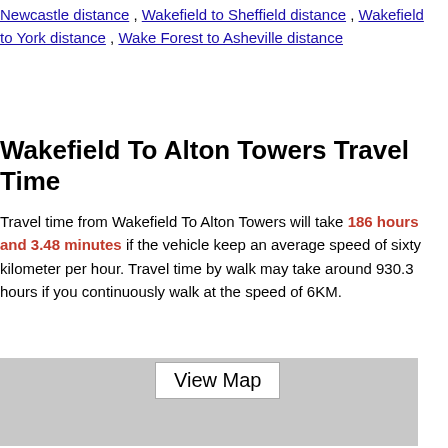Newcastle distance , Wakefield to Sheffield distance , Wakefield to York distance , Wake Forest to Asheville distance
Wakefield To Alton Towers Travel Time
Travel time from Wakefield To Alton Towers will take 186 hours and 3.48 minutes if the vehicle keep an average speed of sixty kilometer per hour. Travel time by walk may take around 930.3 hours if you continuously walk at the speed of 6KM.
[Figure (map): Map area with View Map button overlay, grey placeholder]